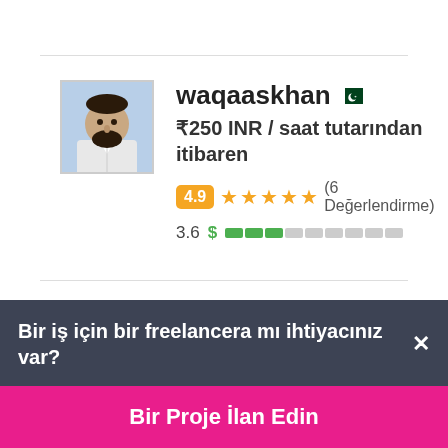[Figure (photo): Profile photo of waqaaskhan, a man with a beard wearing a white shirt, light blue background]
waqaaskhan 🇵🇰
₹250 INR / saat tutarından itibaren
4.9 ★★★★★ (6 Değerlendirme)
3.6 $ ████░░░░░░
Bir iş için bir freelancera mı ihtiyacınız var? ×
Bir Proje İlan Edin